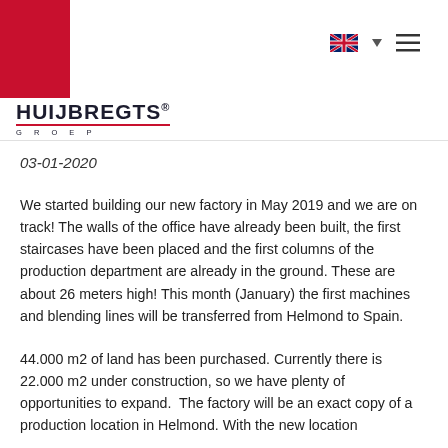HUIJBREGTS GROEP logo with navigation
03-01-2020
We started building our new factory in May 2019 and we are on track! The walls of the office have already been built, the first staircases have been placed and the first columns of the production department are already in the ground. These are about 26 meters high! This month (January) the first machines and blending lines will be transferred from Helmond to Spain.
44.000 m2 of land has been purchased. Currently there is 22.000 m2 under construction, so we have plenty of opportunities to expand.  The factory will be an exact copy of a production location in Helmond. With the new location